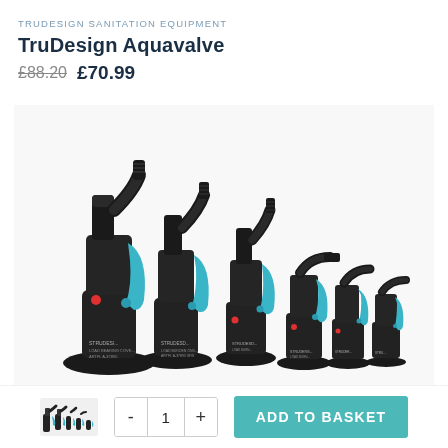TRUDESIGN SANITATION EQUIPMENT
TruDesign Aquavalve
£88.20  £70.99
[Figure (photo): Six TruDesign Aquavalve units of graduating sizes arranged left to right, each with black body and blue lever handle, photographed on white background]
[Figure (photo): Small thumbnail image of multiple TruDesign Aquavalve units]
- 1 + ADD TO BASKET